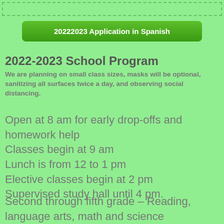20222023 Application in Spanish
2022-2023 School Program
We are planning on small class sizes, masks will be optional, sanitizing all surfaces twice a day, and observing social distancing.
Open at 8 am for early drop-offs and homework help
Classes begin at 9 am
Lunch is from 12 to 1 pm
Elective classes begin at 2 pm
Supervised study hall until 4 pm.
Second through fifth grade – Reading, language arts, math and science